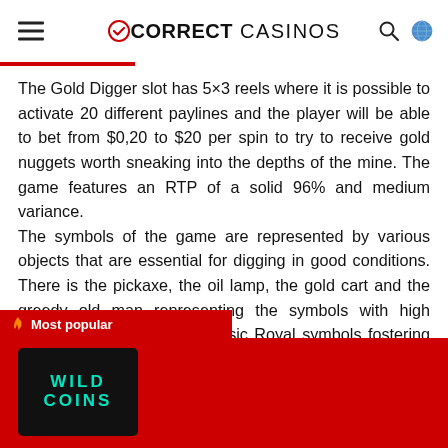CORRECT CASINOS
The Gold Digger slot has 5×3 reels where it is possible to activate 20 different paylines and the player will be able to bet from $0,20 to $20 per spin to try to receive gold nuggets worth sneaking into the depths of the mine. The game features an RTP of a solid 96% and medium variance.
The symbols of the game are represented by various objects that are essential for digging in good conditions. There is the pickaxe, the oil lamp, the gold cart and the greedy old man representing the symbols with high monetary value and the classic Royal symbols fostering lower values. The wild symbol represented by the explosion the symbols, except for the gold nugget and
Most popular
[Figure (logo): Wild Coins logo on dark background]